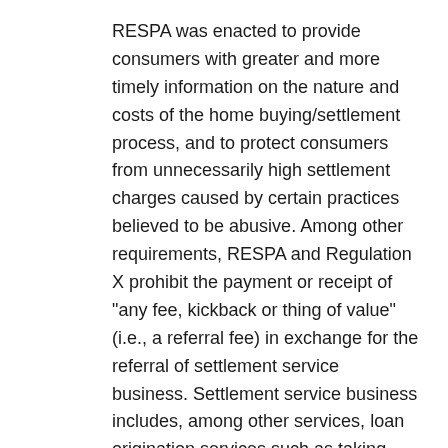RESPA was enacted to provide consumers with greater and more timely information on the nature and costs of the home buying/settlement process, and to protect consumers from unnecessarily high settlement charges caused by certain practices believed to be abusive. Among other requirements, RESPA and Regulation X prohibit the payment or receipt of "any fee, kickback or thing of value" (i.e., a referral fee) in exchange for the referral of settlement service business. Settlement service business includes, among other services, loan origination services such as taking applications, obtaining income verifications and communicating with a borrower or lender. RESPA and Regulation X permit reasonable payments to affiliates and third parties for services actually performed in the origination, processing or funding of a loan.
The Graham-Leach-Bliley Act, and its implementing regulations (collectively, "GLBA"), are other federal laws